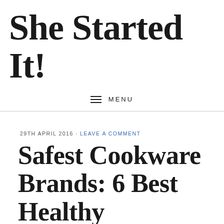She Started It!
≡  MENU
29TH APRIL 2016 · LEAVE A COMMENT
Safest Cookware Brands: 6 Best Healthy Cookware